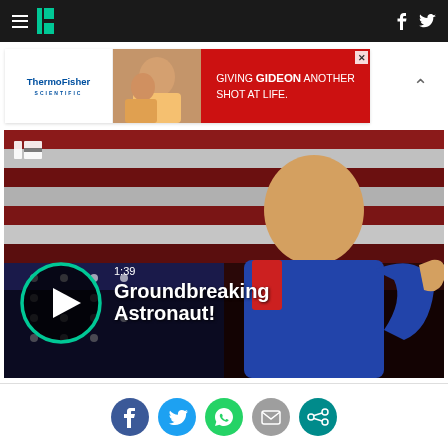HuffPost navigation bar with hamburger menu, logo, Facebook and Twitter icons
[Figure (photo): ThermoFisher Scientific advertisement banner: red background with photo of woman and child, text 'GIVING GIDEON ANOTHER SHOT AT LIFE.']
[Figure (screenshot): Video thumbnail showing a smiling female astronaut in blue jumpsuit giving thumbs up in front of American flag. Overlay shows play button, timestamp '1:39', and title 'Groundbreaking Astronaut!']
[Figure (infographic): Social sharing icons row: Facebook (blue), Twitter (light blue), WhatsApp (green), Email (gray), another icon (teal)]